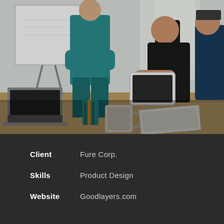[Figure (photo): Business meeting scene with people around a table using tablets, a person in a teal suit standing, whiteboard in background, coffee cup and pen holder on table]
Client: Fure Corp.
Skills: Product Design
Website: Goodlayers.com